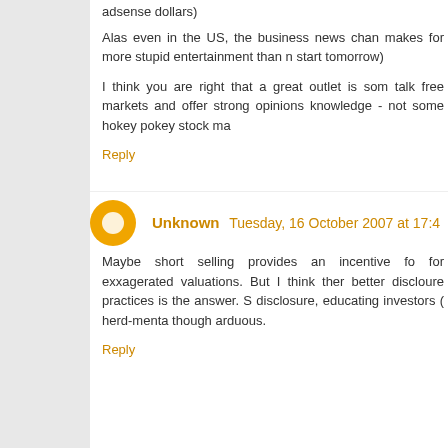adsense dollars)
Alas even in the US, the business news chan makes for more stupid entertainment than n start tomorrow)
I think you are right that a great outlet is som talk free markets and offer strong opinions knowledge - not some hokey pokey stock ma
Reply
Unknown Tuesday, 16 October 2007 at 17:4
Maybe short selling provides an incentive fo for exxagerated valuations. But I think ther better discloure practices is the answer. S disclosure, educating investors ( herd-menta though arduous.
Reply